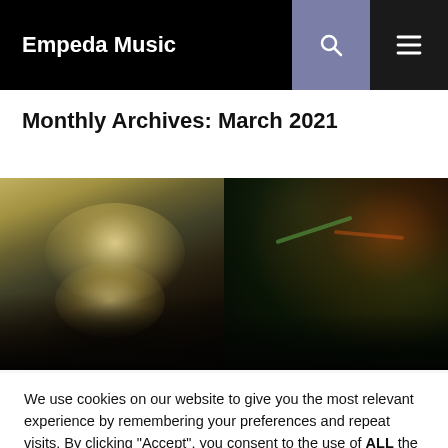Empeda Music
Monthly Archives: March 2021
[Figure (photo): Two-panel photo strip: left panel shows a musician with light curly hair illuminated by bright stage light, right panel shows a singer holding a microphone with warm orange and green stage lighting.]
We use cookies on our website to give you the most relevant experience by remembering your preferences and repeat visits. By clicking “Accept”, you consent to the use of ALL the cookies.
Cookie settings   ACCEPT